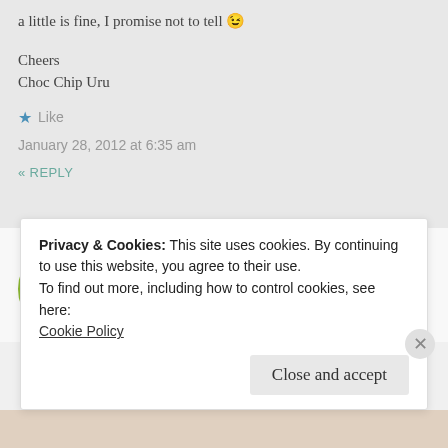a little is fine, I promise not to tell 😉
Cheers
Choc Chip Uru
★ Like
January 28, 2012 at 6:35 am
« REPLY
[Figure (photo): Circular avatar photo of a smiling woman with shoulder-length hair, wearing a red scarf, framed by a green circular border.]
Privacy & Cookies: This site uses cookies. By continuing to use this website, you agree to their use.
To find out more, including how to control cookies, see here:
Cookie Policy
Close and accept